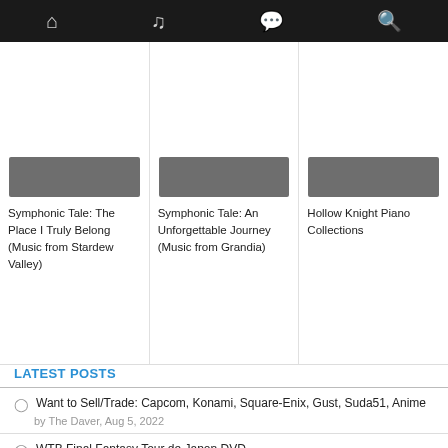Navigation bar with home, music, chat, and search icons
[Figure (screenshot): Album art placeholder image for Symphonic Tale: The Place I Truly Belong (Music from Stardew Valley)]
Symphonic Tale: The Place I Truly Belong (Music from Stardew Valley)
[Figure (screenshot): Album art placeholder image for Symphonic Tale: An Unforgettable Journey (Music from Grandia)]
Symphonic Tale: An Unforgettable Journey (Music from Grandia)
[Figure (screenshot): Album art placeholder image for Hollow Knight Piano Collections]
Hollow Knight Piano Collections
LATEST POSTS
Want to Sell/Trade: Capcom, Konami, Square-Enix, Gust, Suda51, Anime
by The Daver, Aug 5, 2022
WTB Final Fantasy Tour de Japon DVD